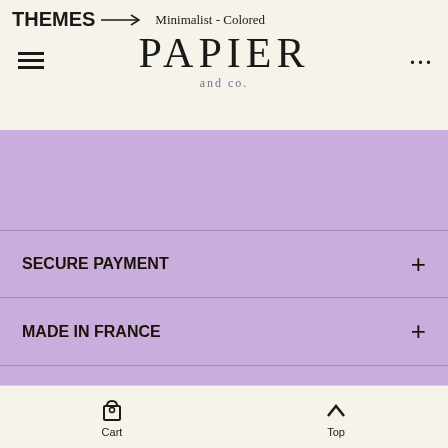THEMES → Minimalist - Colored
PAPIER and co.
SECURE PAYMENT +
MADE IN FRANCE +
SHIPPING +
OTHER PRODUCTS IN THE
Cart  Top